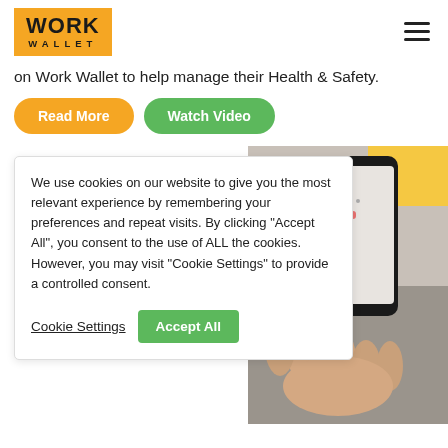[Figure (logo): Work Wallet logo - orange background with WORK in bold and WALLET in spaced uppercase below]
on Work Wallet to help manage their Health & Safety.
Read More
Watch Video
We use cookies on our website to give you the most relevant experience by remembering your preferences and repeat visits. By clicking "Accept All", you consent to the use of ALL the cookies. However, you may visit "Cookie Settings" to provide a controlled consent.
Cookie Settings
Accept All
[Figure (photo): Hand holding a smartphone displaying an app screen, with a yellow element visible in the background]